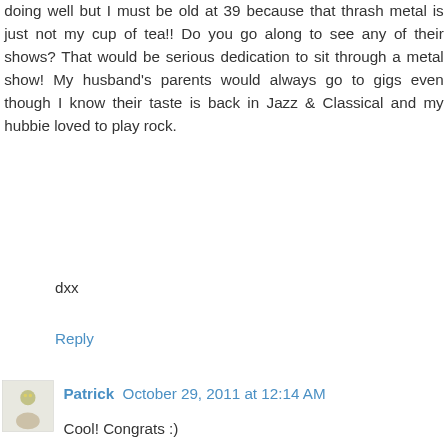doing well but I must be old at 39 because that thrash metal is just not my cup of tea!! Do you go along to see any of their shows? That would be serious dedication to sit through a metal show! My husband's parents would always go to gigs even though I know their taste is back in Jazz & Classical and my hubbie loved to play rock.
dxx
Reply
Patrick  October 29, 2011 at 12:14 AM
Cool! Congrats :)
Reply
MelanieO  October 29, 2011 at 6:09 AM
Fantastic remix! Congratulations!
Reply